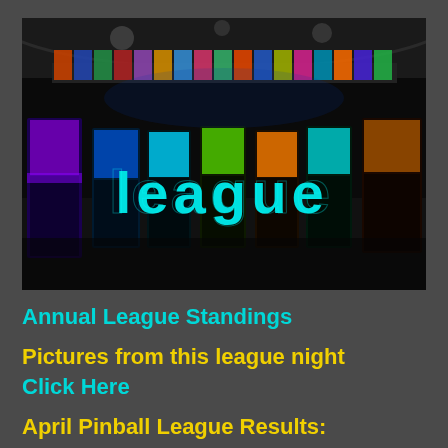[Figure (photo): Dark panoramic photo of a pinball arcade/game room with rows of illuminated pinball machines and colorful backglass displays. The word LEAGUE is overlaid in large cyan/teal bold text in the center of the image.]
Annual League Standings
Pictures from this league night
Click Here
April Pinball League Results: